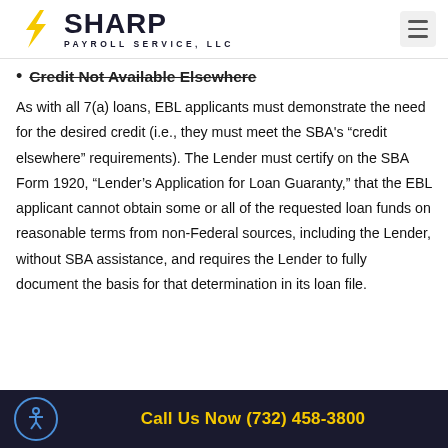SHARP PAYROLL SERVICE, LLC
Credit Not Available Elsewhere
As with all 7(a) loans, EBL applicants must demonstrate the need for the desired credit (i.e., they must meet the SBA's “credit elsewhere” requirements). The Lender must certify on the SBA Form 1920, “Lender’s Application for Loan Guaranty,” that the EBL applicant cannot obtain some or all of the requested loan funds on reasonable terms from non-Federal sources, including the Lender, without SBA assistance, and requires the Lender to fully document the basis for that determination in its loan file.
Call Us Now (732) 458-3800